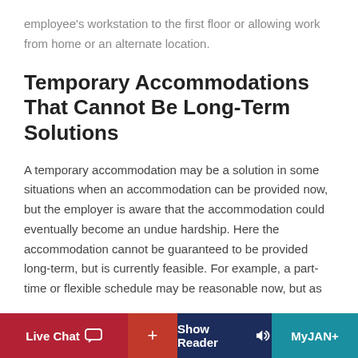employee's workstation to the first floor or allowing work from home or an alternate location.
Temporary Accommodations That Cannot Be Long-Term Solutions
A temporary accommodation may be a solution in some situations when an accommodation can be provided now, but the employer is aware that the accommodation could eventually become an undue hardship. Here the accommodation cannot be guaranteed to be provided long-term, but is currently feasible. For example, a part-time or flexible schedule may be reasonable now, but as
Live Chat   +   Show Reader   MyJAN